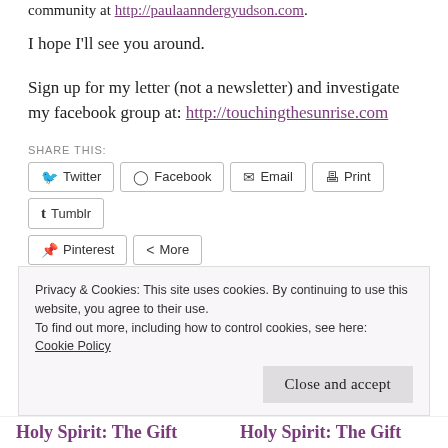community at http://paulaanndergyudson.com.
I hope I'll see you around.
Sign up for my letter (not a newsletter) and investigate my facebook group at: http://touchingthesunrise.com
SHARE THIS:
Twitter
Facebook
Email
Print
Tumblr
Pinterest
More
Loading
Privacy & Cookies: This site uses cookies. By continuing to use this website, you agree to their use.
To find out more, including how to control cookies, see here:
Cookie Policy
Close and accept
Holy Spirit: The Gift
Holy Spirit: The Gift